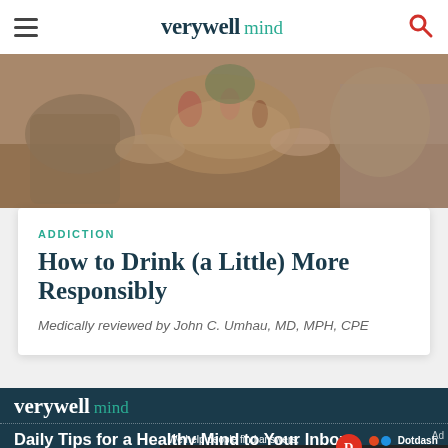verywell mind
[Figure (photo): People clinking glasses at a social gathering, hands reaching in with wine and other drinks, warm toned photo]
ADDICTION
How to Drink (a Little) More Responsibly
Medically reviewed by John C. Umhau, MD, MPH, CPE
verywell mind
Daily Tips for a Healthy Mind to Your Inbox
[Figure (other): Dotdash Meredith advertisement banner: We help people find answers, solve problems and get inspired.]